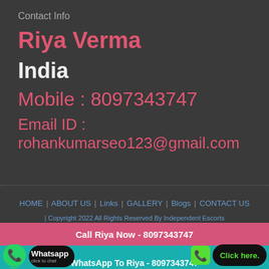Contact Info
Riya Verma
India
Mobile : 8097343747
Email ID : rohankumarseo123@gmail.com
HOME | ABOUT US | Links | GALLERY | Blogs | CONTACT US | Copyright 2022 All Rights Reserved By Independent Escorts
Call Riya Now - 8097343747
[Figure (logo): WhatsApp click to chat button with green phone icon]
[Figure (logo): Click here button with green phone icon]
WhatsApp To Riya - 8097343747